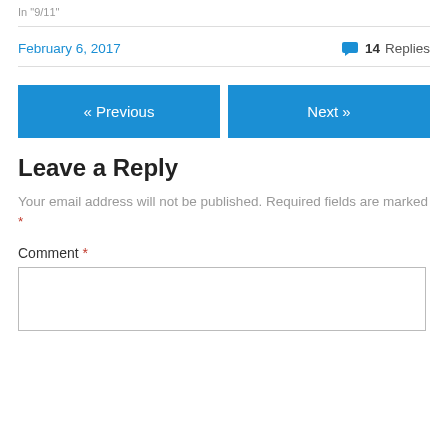In "9/11"
February 6, 2017   14 Replies
« Previous   Next »
Leave a Reply
Your email address will not be published. Required fields are marked *
Comment *